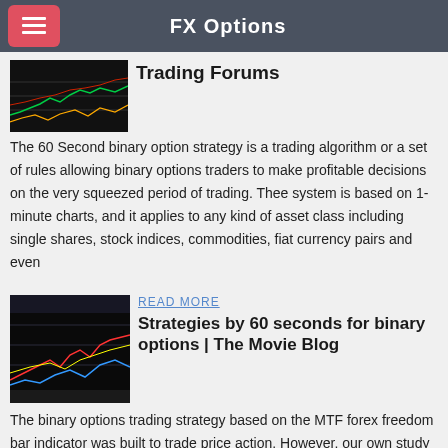FX Options
Trading Forums
The 60 Second binary option strategy is a trading algorithm or a set of rules allowing binary options traders to make profitable decisions on the very squeezed period of trading. Thee system is based on 1-minute charts, and it applies to any kind of asset class including single shares, stock indices, commodities, fiat currency pairs and even
READ MORE
[Figure (screenshot): Trading chart screenshot showing candlestick/line chart on dark background]
Strategies by 60 seconds for binary options | The Movie Blog
The binary options trading strategy based on the MTF forex freedom bar indicator was built to trade price action. However, our own study of this indicator has provided a much needed modification to enable it to be used to trade the binary options